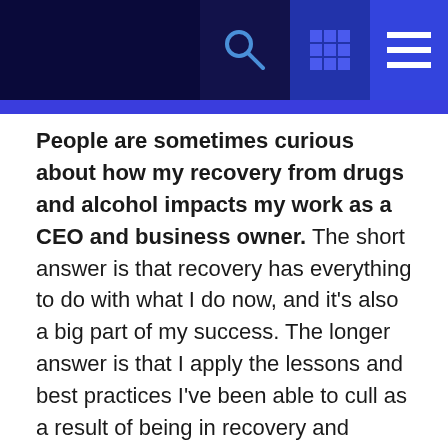[Navigation header with search, grid, and menu icons]
People are sometimes curious about how my recovery from drugs and alcohol impacts my work as a CEO and business owner. The short answer is that recovery has everything to do with what I do now, and it's also a big part of my success. The longer answer is that I apply the lessons and best practices I've been able to cull as a result of being in recovery and working the 12 steps daily.
I share these lessons in the hope they may be helpful to others.
Draw from personal experience to help others. I was first introduced to recovery in my early 20s. Since then, helping others find freedom from